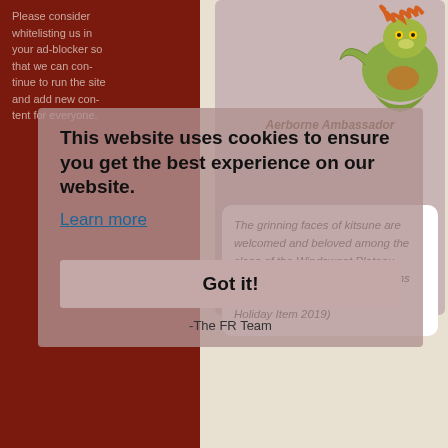Please consider whitelisting us in your ad-blocker so that we can continue to run the site and add new content for everyone.
-The FR Team
[Figure (illustration): Colorful kitsune/dragon creature illustration in greens and oranges]
Aerborne Ambassador
The grinning faces of kitsune are welcomed and beloved among the clans of the Windswept Plateau, many even living close by dragons for protection. (Mistral Jamboree Holiday Item 2019)
This website uses cookies to ensure you get the best experience on our website.
Learn more
Got it!
-The FR Team